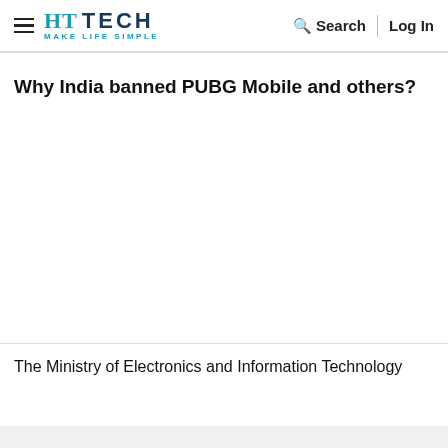HT TECH MAKE LIFE SIMPLE — Search | Log In
Why India banned PUBG Mobile and others?
[Figure (photo): Empty image area below the article title]
The Ministry of Electronics and Information Technology